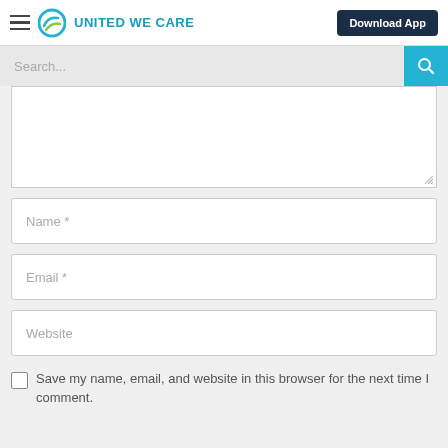United We Care — Download App
Search...
Name *
Email *
Website
Save my name, email, and website in this browser for the next time I comment.